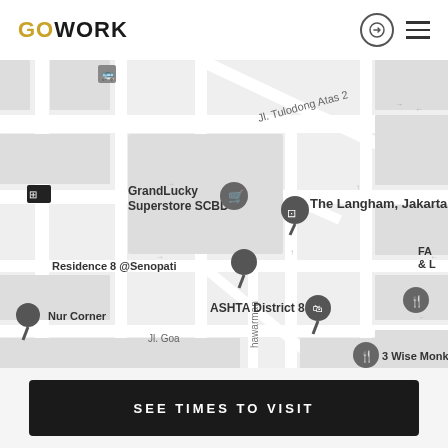GOWORK
[Figure (map): Google Maps screenshot showing the Senopati/SCBD area of Jakarta, Indonesia. Visible landmarks include GrandLucky Superstore SCBD, The Langham Jakarta, Residence 8 @Senopati, ASHTA District 8, Nur Corner, 3 Wise Monkeys, and street labels including Jl. Tulodong Atas 2 and Jl. Goa.]
SEE TIMES TO VISIT